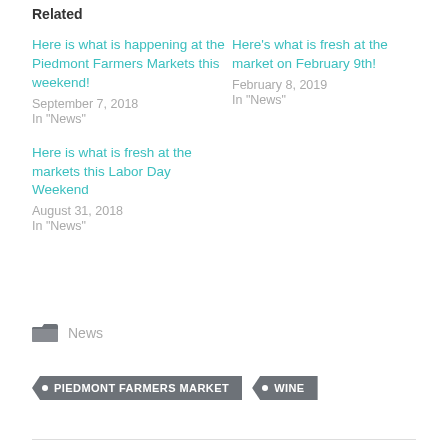Related
Here is what is happening at the Piedmont Farmers Markets this weekend!
September 7, 2018
In "News"
Here’s what is fresh at the market on February 9th!
February 8, 2019
In "News"
Here is what is fresh at the markets this Labor Day Weekend
August 31, 2018
In "News"
News
PIEDMONT FARMERS MARKET
WINE